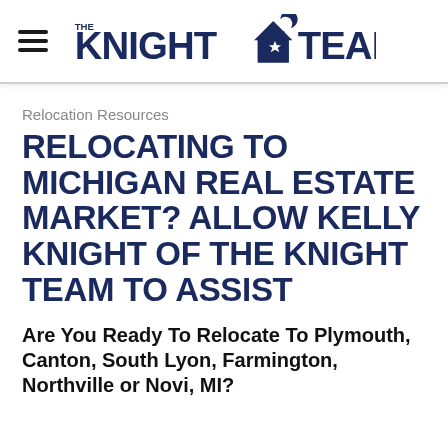THE KNIGHT TEAM
Relocation Resources
RELOCATING TO MICHIGAN REAL ESTATE MARKET? ALLOW KELLY KNIGHT OF THE KNIGHT TEAM TO ASSIST
Are You Ready To Relocate To Plymouth, Canton, South Lyon, Farmington, Northville or Novi, MI?